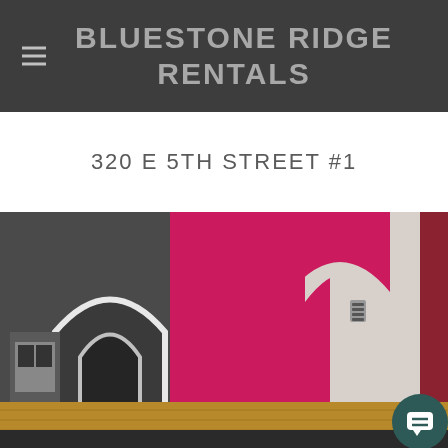BLUESTONE RIDGE RENTALS
320 E 5TH STREET #1
[Figure (photo): Interior photo of a rental apartment showing rooms with bright pink/magenta walls, arched doorways, white arch trim, grey walls, and hardwood floors. A chat button icon is overlaid in the bottom right corner.]